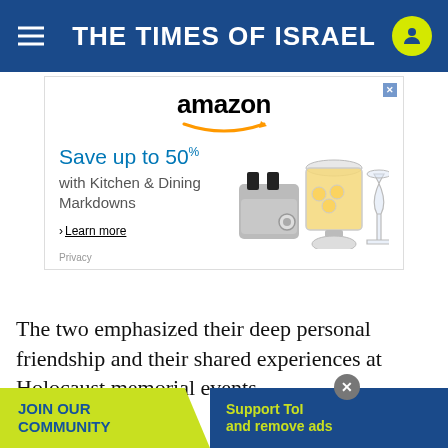THE TIMES OF ISRAEL
[Figure (photo): Amazon advertisement: 'Save up to 50% with Kitchen & Dining Markdowns. Learn more.' Shows kitchen appliances including a toaster, beverage dispenser with lemonade, and a wine glass.]
The two emphasized their deep personal friendship and their shared experiences at Holocaust memorial events
[Figure (infographic): Bottom banner ad: 'JOIN OUR COMMUNITY' on yellow-green background with blue arrow, and 'Support ToI and remove ads' on blue background in yellow-green text. Has a close (X) button.]